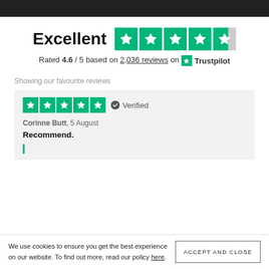[Figure (other): Trustpilot rating widget showing 'Excellent' with 4.6/5 stars (5 green star boxes, last partially filled), rated 4.6/5 based on 2,036 reviews on Trustpilot]
Showing our favourite reviews
Corinne Butt, 5 August
Recommend.
We use cookies to ensure you get the best experience on our website. To find out more, read our policy here.